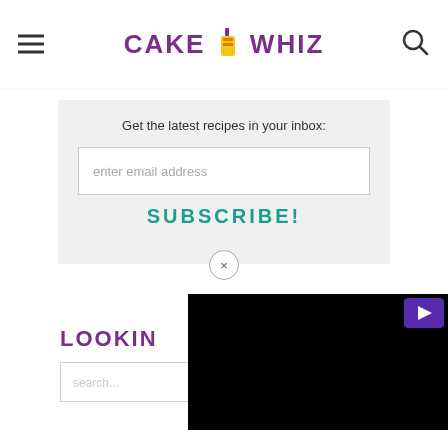CAKE WHIZ
Get the latest recipes in your inbox:
enter email address
SUBSCRIBE!
LOOKIN
search...
[Figure (screenshot): Black video player rectangle with a play button icon in the top right corner]